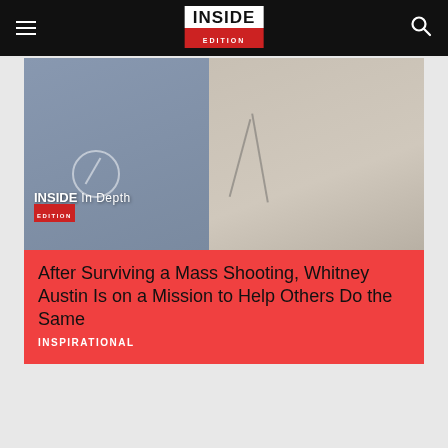Inside Edition
[Figure (screenshot): Inside Edition In Depth thumbnail showing two panels: left panel shows a woman with dark hair, right panel shows a woman lying down with medical equipment]
After Surviving a Mass Shooting, Whitney Austin Is on a Mission to Help Others Do the Same
INSPIRATIONAL